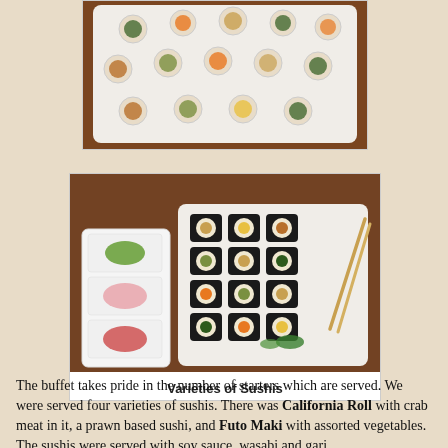[Figure (photo): Top-down view of a white rectangular plate with multiple pieces of sushi rolls arranged in rows on a dark wooden table.]
[Figure (photo): A white rectangular plate of sushi rolls (maki) next to a condiment tray with wasabi, ginger and soy sauce; chopsticks resting on the sushi plate. Placed on a dark wooden table.]
Varieties of Sushis
The buffet takes pride in the number of starters which are served. We were served four varieties of sushis. There was California Roll with crab meat in it, a prawn based sushi, and Futo Maki with assorted vegetables. The sushis were served with soy sauce, wasabi and gari.